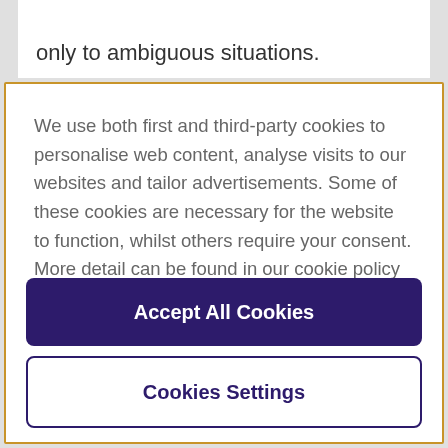only to ambiguous situations.
We use both first and third-party cookies to personalise web content, analyse visits to our websites and tailor advertisements. Some of these cookies are necessary for the website to function, whilst others require your consent. More detail can be found in our cookie policy and you can tailor your choices in the preference centre.
Accept All Cookies
Cookies Settings